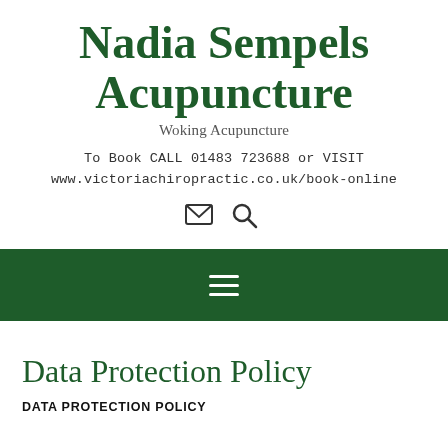Nadia Sempels Acupuncture
Woking Acupuncture
To Book CALL 01483 723688 or VISIT www.victoriachiropractic.co.uk/book-online
[Figure (other): Email and search icons]
[Figure (other): Hamburger menu icon on dark green navigation bar]
Data Protection Policy
DATA PROTECTION POLICY